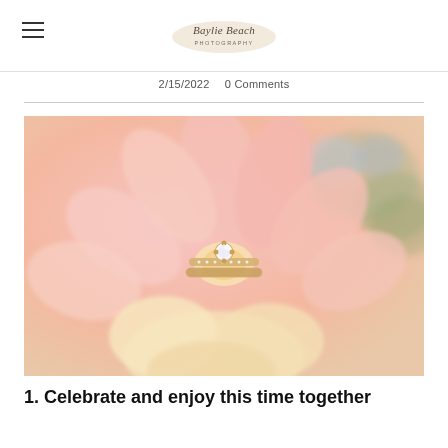Baylie Beach Photography — navigation header with hamburger menu and logo
2/15/2022   0 Comments
[Figure (photo): Close-up photograph of a diamond engagement ring and wedding band resting on a pink and peach dahlia flower, with blurred floral bouquet in the background featuring blue and green foliage.]
1. Celebrate and enjoy this time together